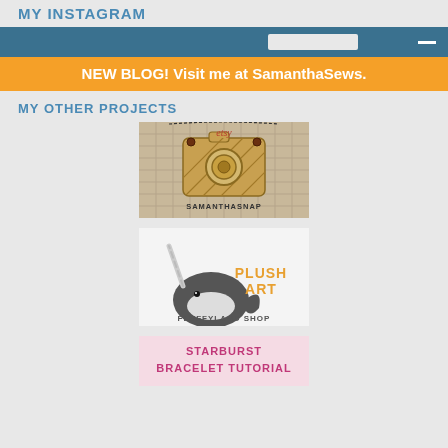MY INSTAGRAM
NEW BLOG! Visit me at SamanthaSews.
MY OTHER PROJECTS
[Figure (illustration): Etsy shop link image showing a wooden camera necklace on burlap with text 'etsy' and 'SAMANTHASNAP']
[Figure (illustration): Fluffyland shop link image showing a plush narwhal toy with text 'PLUSH ART' and 'FLUFFYLAND SHOP']
[Figure (illustration): Starburst Bracelet Tutorial link image with pink/magenta text on light background]